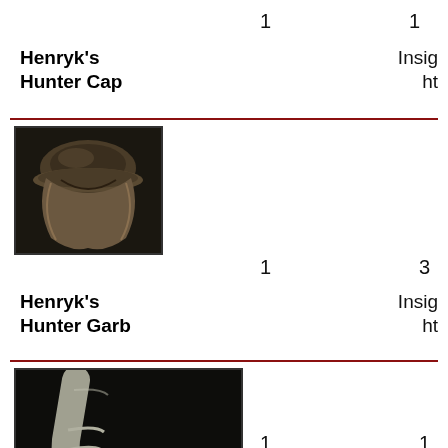1
1
Henryk's Hunter Cap
Insight
[Figure (photo): Game item icon: Henryk's Hunter Cap armor piece, a dark leather hat/cap with tattered cloth, shown on a dark background]
1
3
Henryk's Hunter Garb
Insight
[Figure (photo): Game item icon: Henryk's Hunter Garb glove/hand piece, a pale armored gauntlet/glove shown on a dark background]
1
1